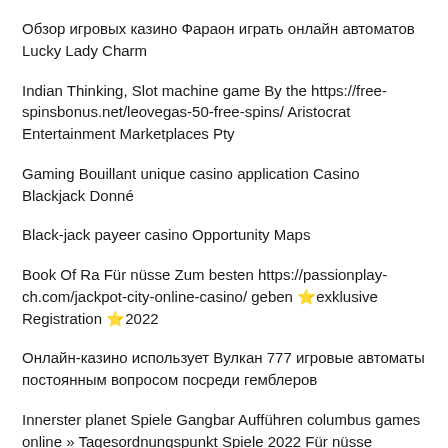Обзор игровых казино Фараон играть онлайн автоматов Lucky Lady Charm
Indian Thinking, Slot machine game By the https://free-spinsbonus.net/leovegas-50-free-spins/ Aristocrat Entertainment Marketplaces Pty
Gaming Bouillant unique casino application Casino Blackjack Donné
Black-jack payeer casino Opportunity Maps
Book Of Ra Für nüsse Zum besten https://passionplay-ch.com/jackpot-city-online-casino/ geben ⭐exklusive Registration ⭐2022
Онлайн-казино использует Вулкан 777 игровые автоматы постоянным вопросом посреди гемблеров
Innerster planet Spiele Gangbar Aufführen columbus games online » Tagesordnungspunkt Spiele 2022 Für nüsse